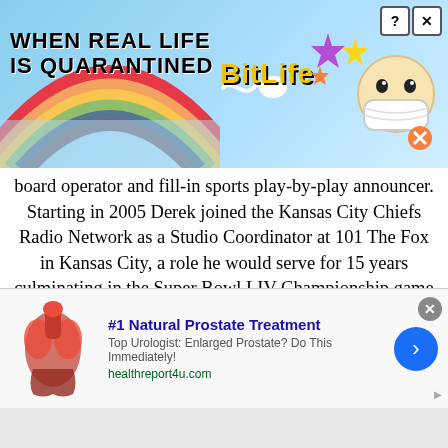[Figure (screenshot): Top advertisement banner for BitLife mobile game with rainbow gradient on left, white wavy sperm icon in center, BitLife logo in yellow, star cluster icons and face mask emoji on right, close and help buttons top right]
board operator and fill-in sports play-by-play announcer. Starting in 2005 Derek joined the Kansas City Chiefs Radio Network as a Studio Coordinator at 101 The Fox in Kansas City, a role he would serve for 15 years culminating in the Super Bowl LIV Championship game broadcast. In 2021 he moved to Audacy, formerly known as Entercom Communications, Inc. and 106.5 The Wolf and 610 Sports Radio, the new flagship stations of the Kansas City Chiefs Radio Network, the largest radio network in the NFL. Through all of this, Derek continues to serve as the Digital Media Director for Sunflower State Radio, the digital and social media
[Figure (screenshot): Bottom advertisement for #1 Natural Prostate Treatment with anatomical illustration on left, ad title in blue bold text, description text, healthreport4u.com URL in green, blue circular arrow button on right, close X button top right]